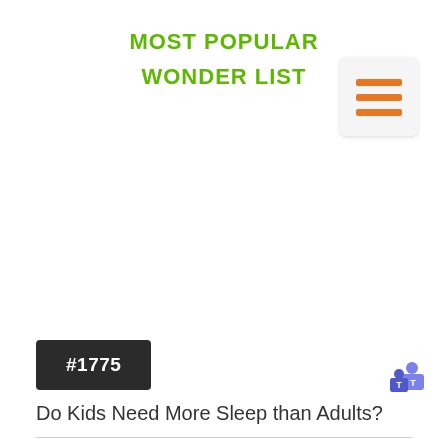MOST POPULAR
WONDER LIST
[Figure (other): Hamburger menu icon with three orange horizontal bars on a light grey rounded square background]
#1775
Do Kids Need More Sleep than Adults?